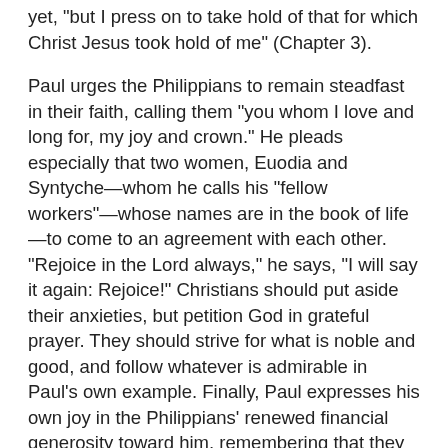yet, "but I press on to take hold of that for which Christ Jesus took hold of me" (Chapter 3).
Paul urges the Philippians to remain steadfast in their faith, calling them "you whom I love and long for, my joy and crown." He pleads especially that two women, Euodia and Syntyche—whom he calls his "fellow workers"—whose names are in the book of life—to come to an agreement with each other. "Rejoice in the Lord always," he says, "I will say it again: Rejoice!" Christians should put aside their anxieties, but petition God in grateful prayer. They should strive for what is noble and good, and follow whatever is admirable in Paul's own example. Finally, Paul expresses his own joy in the Philippians' renewed financial generosity toward him, remembering that they were the only church who supported him materially in the early days of his missionary activities at Thessalonica. "You sent me aid again and again when I was in need...I am amply supplied, now that I have received from Epaphroditus the gifts you sent" he closes with affirmation and acknowledgment.